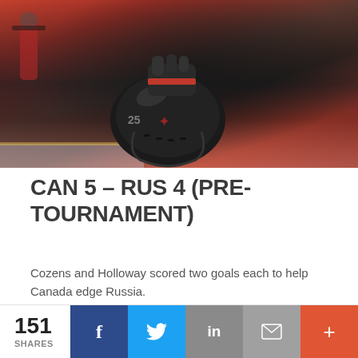[Figure (photo): Hockey players in red and black Canada jerseys standing on ice, one holding a black helmet with a maple leaf logo, others visible in background near the rink boards.]
CAN 5 – RUS 4 (PRE-TOURNAMENT)
Cozens and Holloway scored two goals each to help Canada edge Russia.
151 SHARES | Facebook | Twitter | LinkedIn | Email | More